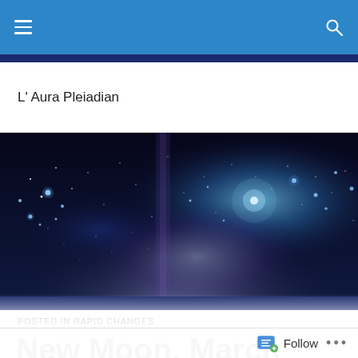L' Aura Pleiadian
[Figure (photo): Wide banner photograph of a starfield and nebula with bright blue and purple glowing stars and cosmic light, resembling the Pleiades star cluster.]
POSTED IN RAPID CHANGES
New Moon, March 24th 2020 in Aries ~ Re-Birthed Through the Chrysah